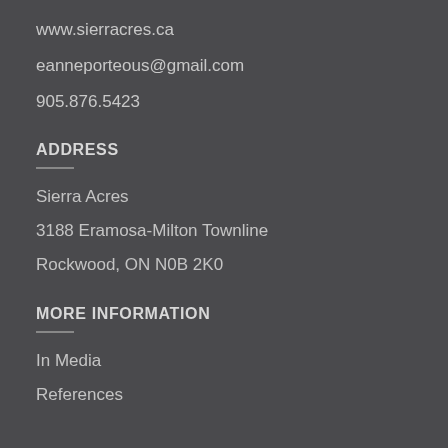www.sierracres.ca
eanneporteous@gmail.com
905.876.5423
ADDRESS
Sierra Acres
3188 Eramosa-Milton Townline
Rockwood, ON N0B 2K0
MORE INFORMATION
In Media
References